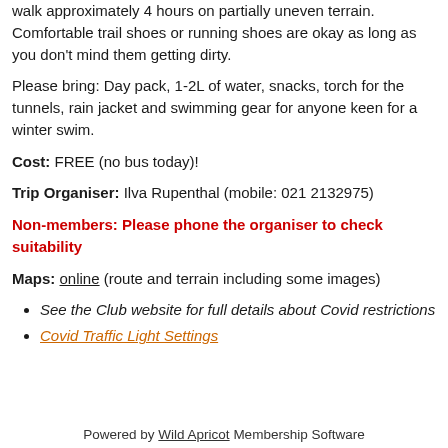walk approximately 4 hours on partially uneven terrain. Comfortable trail shoes or running shoes are okay as long as you don't mind them getting dirty.
Please bring: Day pack, 1-2L of water, snacks, torch for the tunnels, rain jacket and swimming gear for anyone keen for a winter swim.
Cost: FREE (no bus today)!
Trip Organiser: Ilva Rupenthal (mobile: 021 2132975)
Non-members: Please phone the organiser to check suitability
Maps: online (route and terrain including some images)
See the Club website for full details about Covid restrictions
Covid Traffic Light Settings
Powered by Wild Apricot Membership Software